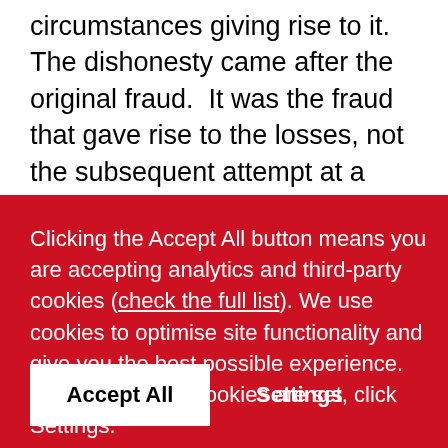circumstances giving rise to it.  The dishonesty came after the original fraud.  It was the fraud that gave rise to the losses, not the subsequent attempt at a cover up by the solicitor.  The dishonesty was a good basis for striking the solicitor off the Roll of Solicitors but there
Clicking the Accept All button means you are accepting analytics and third-party cookies (check the full list). We use cookies to optimise site functionality and give you the best possible experience. To control which cookies are set, click Settings.